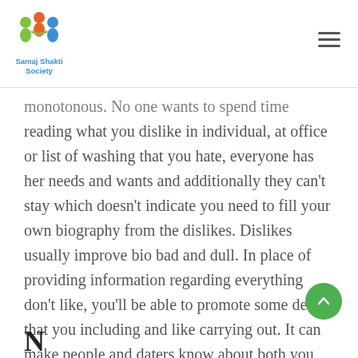Samaj Shakti Society
monotonous. No one wants to spend time reading what you dislike in individual, at office or list of washing that you hate, everyone has her needs and wants and additionally they can't stay which doesn't indicate you need to fill your own biography from the dislikes. Dislikes usually improve bio bad and dull. In place of providing information regarding everything don't like, you'll be able to promote some details that you including and like carrying out. It can make people and daters know about both you and your characteristics and it will be easy in order for them to learn your well.
N...